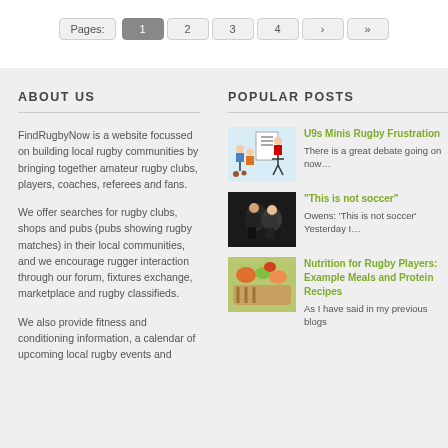Pages: 1 2 3 4 › »
ABOUT US
FindRugbyNow is a website focussed on building local rugby communities by bringing together amateur rugby clubs, players, coaches, referees and fans.
We offer searches for rugby clubs, shops and pubs (pubs showing rugby matches) in their local communities, and we encourage rugger interaction through our forum, fixtures exchange, marketplace and rugby classifieds.
We also provide fitness and conditioning information, a calendar of upcoming local rugby events and
POPULAR POSTS
[Figure (illustration): Cartoon illustration of rugby coaching scene]
U9s Minis Rugby Frustration
There is a great debate going on now…
[Figure (photo): Photo of rugby players in black and white]
"This is not soccer"
Owens: 'This is not soccer'  Yesterday I…
[Figure (photo): Photo of food - grilled meat and vegetables]
Nutrition for Rugby Players: Example Meals and Protein Recipes
As I have said in my previous blogs